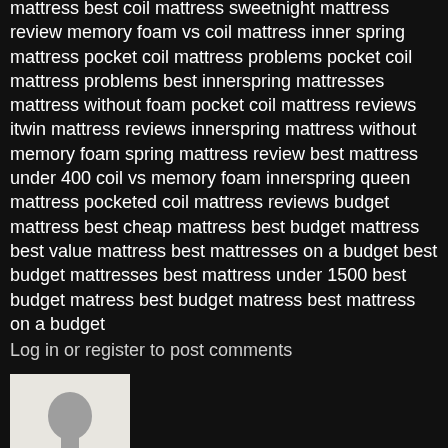mattress best coil mattress sweetnight mattress review memory foam vs coil mattress inner spring mattress pocket coil mattress problems pocket coil mattress problems best innerspring mattresses mattress without foam pocket coil mattress reviews itwin mattress reviews innerspring mattress without memory foam spring mattress review best mattress under 400 coil vs memory foam innerspring queen mattress pocketed coil mattress reviews budget mattress best cheap mattress best budget mattress best value mattress best mattresses on a budget best budget mattresses best mattress under 1500 best budget matress best budget matress best mattress on a budget
Log in or register to post comments
[Figure (illustration): Generic user avatar silhouette — gray background with dark gray person/bust icon]